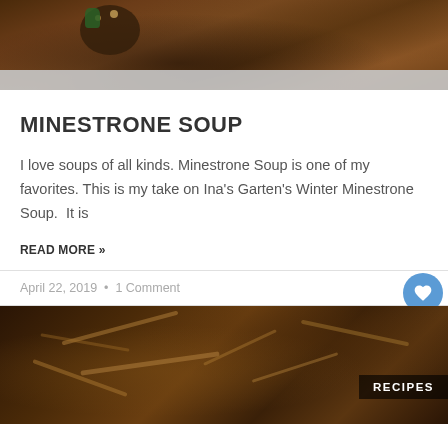[Figure (photo): Top portion of a bowl of minestrone soup with vegetables, partially cropped]
MINESTRONE SOUP
I love soups of all kinds. Minestrone Soup is one of my favorites. This is my take on Ina's Garten's Winter Minestrone Soup.  It is
READ MORE »
April 22, 2019  •  1 Comment
[Figure (photo): Close-up image of mushrooms and vegetables in a dark sauce with a RECIPES label overlay]